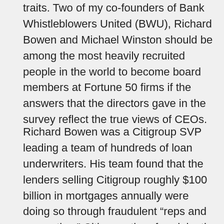Whistleblowers exemplify each of the five most useful traits.  Two of my co-founders of Bank Whistleblowers United (BWU), Richard Bowen and Michael Winston should be among the most heavily recruited people in the world to become board members at Fortune 50 firms if the answers that the directors gave in the survey reflect the true views of CEOs.
Richard Bowen was a Citigroup SVP leading a team of hundreds of loan underwriters.  His team found that the lenders selling Citigroup roughly $100 billion in mortgages annually were doing so through fraudulent “reps and warranties.”  Citigroup then fraudulently resold the same mortgages, making the same type of reps and warranties about the loans that it knew to be false.  Bowen warned Citigroup’s senior managers, including Bob Rubin, of this massive fraud and cautioned that it could create massive liability for Citigroup.  Instead of